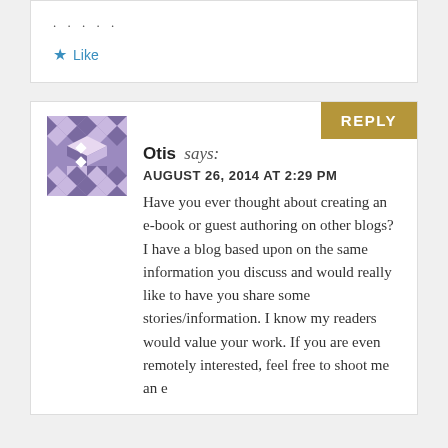. . . . .
★ Like
REPLY
[Figure (illustration): Purple and white geometric patterned avatar with diamond and triangle shapes]
Otis says:
AUGUST 26, 2014 AT 2:29 PM
Have you ever thought about creating an e-book or guest authoring on other blogs? I have a blog based upon on the same information you discuss and would really like to have you share some stories/information. I know my readers would value your work. If you are even remotely interested, feel free to shoot me an e